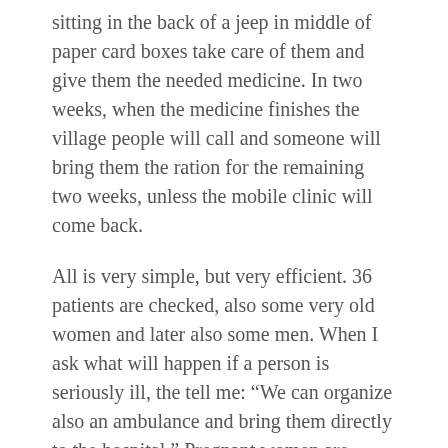sitting in the back of a jeep in middle of paper card boxes take care of them and give them the needed medicine. In two weeks, when the medicine finishes the village people will call and someone will bring them the ration for the remaining two weeks, unless the mobile clinic will come back.
All is very simple, but very efficient. 36 patients are checked, also some very old women and later also some men. When I ask what will happen if a person is seriously ill, the tell me: “We can organize also an ambulance and bring them directly to the hospital.” Pregnant women are checked also during their pregnancy time, therefore it is important that also a woman doctor comes with the mobile clinic. But at the moment in this village there are no pregnant women.